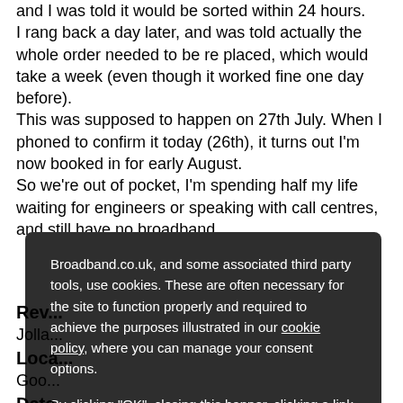and I was told it would be sorted within 24 hours.
I rang back a day later, and was told actually the whole order needed to be re placed, which would take a week (even though it worked fine one day before).
This was supposed to happen on 27th July. When I phoned to confirm it today (26th), it turns out I'm now booked in for early August.
So we're out of pocket, I'm spending half my life waiting for engineers or speaking with call centres, and still have no broadband.
Broadband.co.uk, and some associated third party tools, use cookies. These are often necessary for the site to function properly and required to achieve the purposes illustrated in our cookie policy, where you can manage your consent options.

By clicking "OK", closing this banner, clicking a link or continuing to browse otherwise, you agree to the use of cookies.
Read our privacy policy
OK
Reviewed by
Jollan...
Location
Goo...
Date
2022-07-26